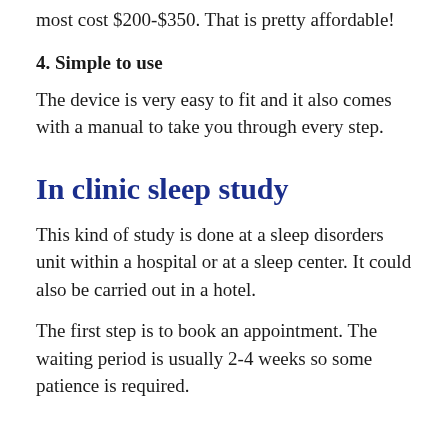most cost $200-$350. That is pretty affordable!
4. Simple to use
The device is very easy to fit and it also comes with a manual to take you through every step.
In clinic sleep study
This kind of study is done at a sleep disorders unit within a hospital or at a sleep center. It could also be carried out in a hotel.
The first step is to book an appointment. The waiting period is usually 2-4 weeks so some patience is required.